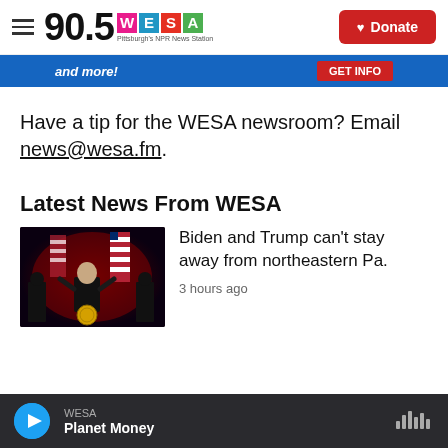90.5 WESA — Pittsburgh's NPR News Station
[Figure (other): Partial advertisement banner with text 'and more!' and 'GET INFO' button on blue background]
Have a tip for the WESA newsroom? Email news@wesa.fm.
Latest News From WESA
[Figure (photo): President Biden speaking at a podium with Presidential seal, red-lit stage with American flags in background]
Biden and Trump can't stay away from northeastern Pa.
3 hours ago
WESA — Planet Money (audio player bar)